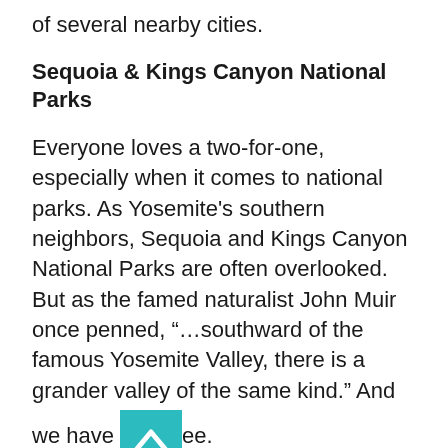of several nearby cities.
Sequoia & Kings Canyon National Parks
Everyone loves a two-for-one, especially when it comes to national parks. As Yosemite's southern neighbors, Sequoia and Kings Canyon National Parks are often overlooked. But as the famed naturalist John Muir once penned, “…southward of the famous Yosemite Valley, there is a grander valley of the same kind.” And we have to agree.
Aside from being home to the world’s largest tree (by volume) and protecting vast areas of towering inland redwoods, admirers of Sequoia know that it…